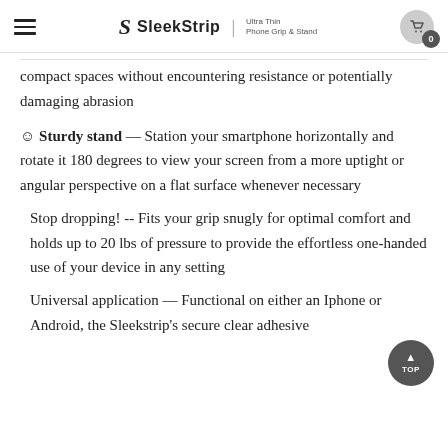SleekStrip | Ultra Thin Phone Grip & Stand
compact spaces without encountering resistance or potentially damaging abrasion
☺ Sturdy stand — Station your smartphone horizontally and rotate it 180 degrees to view your screen from a more uptight or angular perspective on a flat surface whenever necessary
Stop dropping! -- Fits your grip snugly for optimal comfort and holds up to 20 lbs of pressure to provide the effortless one-handed use of your device in any setting
Universal application — Functional on either an Iphone or Android, the Sleekstrip's secure clear adhesive